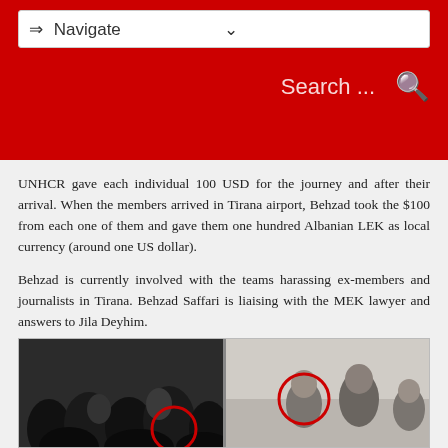Navigate | Search
UNHCR gave each individual 100 USD for the journey and after their arrival. When the members arrived in Tirana airport, Behzad took the $100 from each one of them and gave them one hundred Albanian LEK as local currency (around one US dollar).
Behzad is currently involved with the teams harassing ex-members and journalists in Tirana. Behzad Saffari is liaising with the MEK lawyer and answers to Jila Deyhim.
[Figure (photo): Two side-by-side photos showing groups of people; each photo has a red circle highlighting a specific individual.]